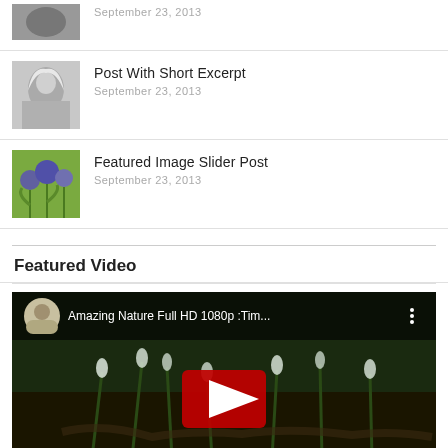[Figure (photo): Grayscale photo thumbnail of a woman, partially visible at top]
September 23, 2013
[Figure (photo): Grayscale portrait thumbnail of a woman with white/blonde hair]
Post With Short Excerpt
September 23, 2013
[Figure (photo): Color thumbnail of purple globe thistle flowers with green foliage]
Featured Image Slider Post
September 23, 2013
Featured Video
[Figure (screenshot): YouTube video embed showing 'Amazing Nature Full HD 1080p :Tim...' with play button overlay on nature scene with snowdrops]